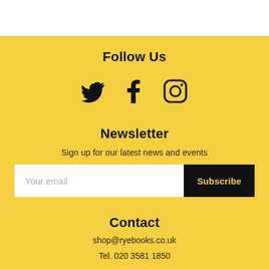Follow Us
[Figure (illustration): Social media icons: Twitter bird, Facebook F, Instagram camera outline]
Newsletter
Sign up for our latest news and events
Your email | Subscribe
Contact
shop@ryebooks.co.uk
Tel. 020 3581 1850